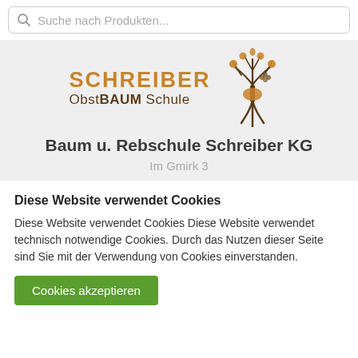Suche nach Produkten...
[Figure (logo): Schreiber ObstBAUMSchule logo with illustrated fruit tree]
Baum u. Rebschule Schreiber KG
Im Gmirk 3
Diese Website verwendet Cookies
Diese Website verwendet Cookies Diese Website verwendet technisch notwendige Cookies. Durch das Nutzen dieser Seite sind Sie mit der Verwendung von Cookies einverstanden.
Cookies akzeptieren